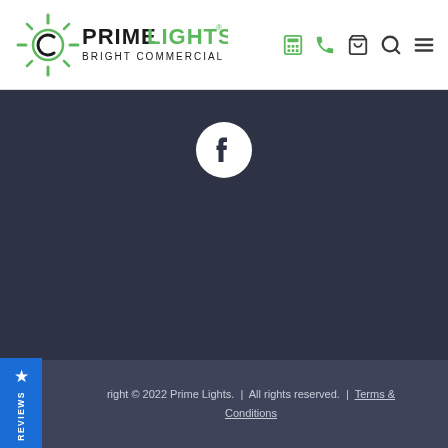Prime Lights – Bright Commercial LEDs
[Figure (logo): Prime Lights logo with sun/light burst icon and text 'PRIME LIGHTS® BRIGHT COMMERCIAL LEDS' in green and dark colors, with navigation icons (calculator, phone, cart, search, menu)]
[Figure (other): Facebook icon (white F on dark circular background) centered in a dark navy section]
right © 2022 Prime Lights. | All rights reserved. | Terms & Conditions
REVIEWS (side tab with star icon)